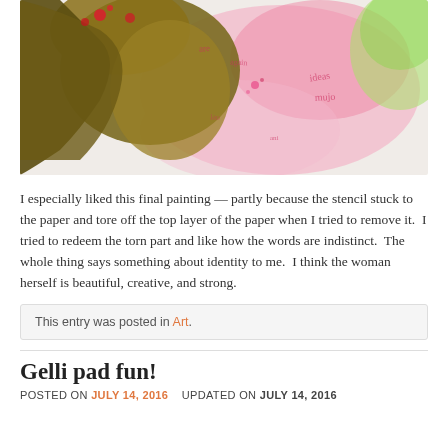[Figure (illustration): Mixed media artwork featuring a woman's face rendered in olive/brown stencil silhouette against a white background with pink watercolor splashes and pink handwritten script text overlay. Green accents visible at edges.]
I especially liked this final painting — partly because the stencil stuck to the paper and tore off the top layer of the paper when I tried to remove it.  I tried to redeem the torn part and like how the words are indistinct.  The whole thing says something about identity to me.  I think the woman herself is beautiful, creative, and strong.
This entry was posted in Art.
Gelli pad fun!
POSTED ON JULY 14, 2016   UPDATED ON JULY 14, 2016